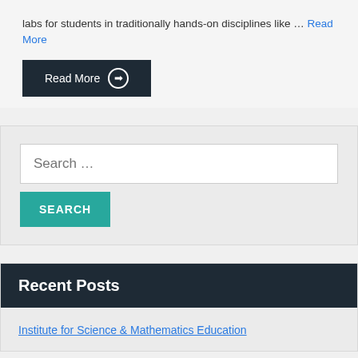labs for students in traditionally hands-on disciplines like … Read More
Read More →
Search …
SEARCH
Recent Posts
Institute for Science & Mathematics Education